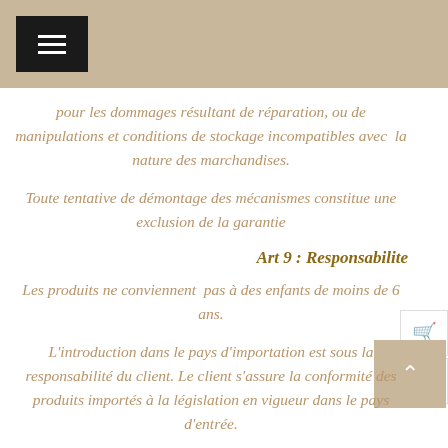pour les dommages résultant de réparation, ou de manipulations et conditions de stockage incompatibles avec  la nature des marchandises.
Toute tentative de démontage des mécanismes constitue une exclusion de la garantie
Art 9 : Responsabilite
Les produits ne conviennent  pas à des enfants de moins de 6 ans.
L'introduction dans le pays d'importation est sous la responsabilité du client. Le client s'assure la conformité des produits importés à la législation en vigueur dans le pays d'entrée.
Les formalités de dédouanement à l'entrée du pays d'importation sont sous la responsabilité du client, qui devra s'acquitter de toutes ses